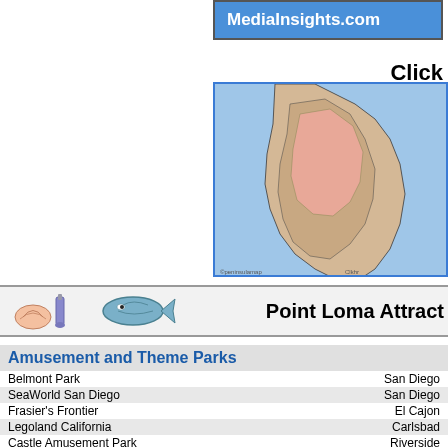[Figure (logo): MediaInsights.com banner logo with blue background]
Click
[Figure (map): Map showing Point Loma peninsula area, blue water background with tan/pink land mass]
[Figure (illustration): Banner strip with small icons (shell/bottle, fish/oval shape) and text 'Point Loma Attract']
Amusement and Theme Parks
Belmont Park    San Diego
SeaWorld San Diego    San Diego
Frasier's Frontier    El Cajon
Legoland California    Carlsbad
Castle Amusement Park    Riverside
Adventure City    Anaheim
Disney's California Adventure    Anaheim
Disneyland    Anaheim
Water Parks
The Haunted Galleon and Volcano Island    Lake Elsinore
Oasis Waterpark    Palm Springs
Soak City U.S.A.    Buena Park